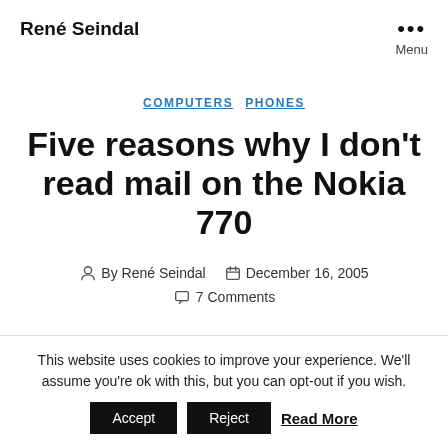René Seindal
COMPUTERS  PHONES
Five reasons why I don't read mail on the Nokia 770
By René Seindal  December 16, 2005
7 Comments
This website uses cookies to improve your experience. We'll assume you're ok with this, but you can opt-out if you wish.